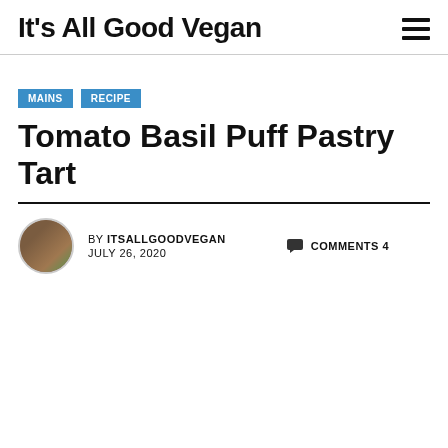It's All Good Vegan
MAINS  RECIPE
Tomato Basil Puff Pastry Tart
BY ITSALLGOODVEGAN  JULY 26, 2020  COMMENTS 4